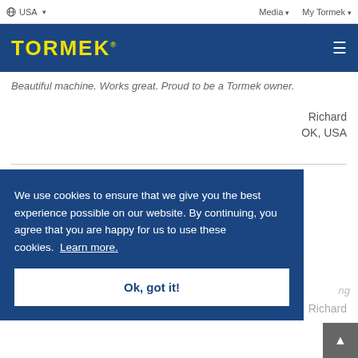USA   Media   My Tormek
[Figure (logo): Tormek logo in yellow on dark blue header bar with hamburger menu icon]
Beautiful machine. Works great. Proud to be a Tormek owner.
Richard
OK, USA
We use cookies to ensure that we give you the best experience possible on our website. By continuing, you agree that you are happy for us to use these cookies.  Learn more.
Ok, got it!
Richard
NV